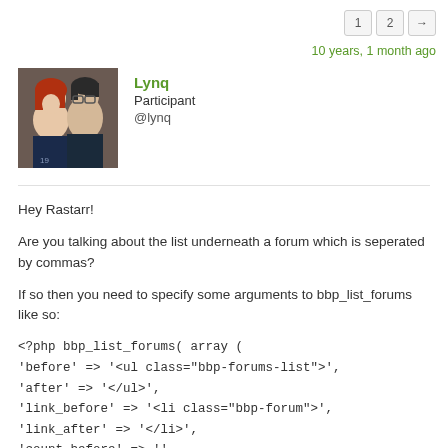1  2  →
10 years, 1 month ago
[Figure (photo): Profile photo of two people, a woman with red hair and a man with glasses]
Lynq
Participant
@lynq
Hey Rastarr!
Are you talking about the list underneath a forum which is seperated by commas?
If so then you need to specify some arguments to bbp_list_forums like so:
<?php bbp_list_forums( array (
'before' => '<ul class="bbp-forums-list">',
'after' => '</ul>',
'link_before' => '<li class="bbp-forum">',
'link_after' => '</li>',
'count_before' => '',
'count_after' => '',
'count_sep' => '',
'separator' => '',
'forum_id' => '',
'show_topic_count' => true,